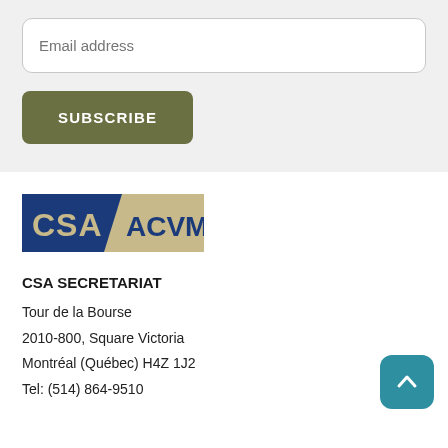Email address
SUBSCRIBE
[Figure (logo): CSA/ACVM logo — left half dark blue with 'CSA' in beige/tan letters, right half tan/beige with 'ACVM' in blue letters, separated by a diagonal slash]
CSA SECRETARIAT
Tour de la Bourse
2010-800, Square Victoria
Montréal (Québec) H4Z 1J2
Tel: (514) 864-9510